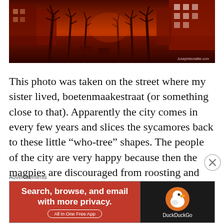[Figure (photo): Red-tinted street photo showing a tree-lined avenue with bare pruned sycamore trees, buildings on both sides, and cars parked along the road. Watermark reads 'Josephelonallie.com'.]
This photo was taken on the street where my sister lived, boetenmaakestraat (or something close to that). Apparently the city comes in every few years and slices the sycamores back to these little “who-tree” shapes. The people of the city are very happy because then the magpies are discouraged from roosting and doing their
Advertisements
[Figure (infographic): DuckDuckGo advertisement banner. Left side red background: 'Search, browse, and email with more privacy. All in One Free App'. Right side dark background with DuckDuckGo duck logo and brand name.]